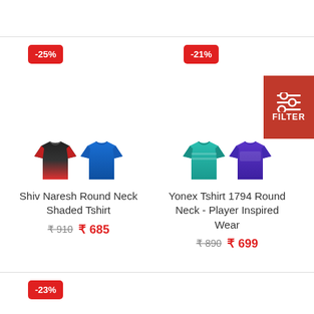-25%
-21%
[Figure (photo): Filter button with slider icon]
[Figure (photo): Two badminton t-shirts: black/red gradient and blue]
Shiv Naresh Round Neck Shaded Tshirt
₹ 910  ₹ 685
[Figure (photo): Two badminton t-shirts: teal and purple]
Yonex Tshirt 1794 Round Neck - Player Inspired Wear
₹ 890  ₹ 699
-23%